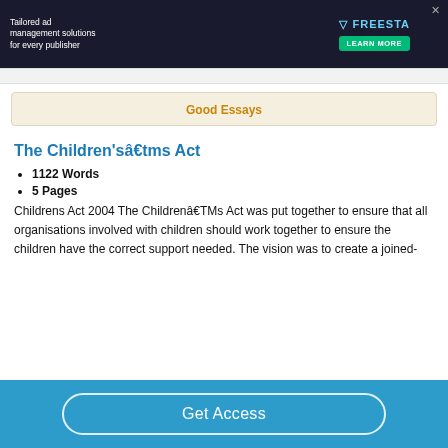[Figure (screenshot): Advertisement banner: 'Tailored ad management solutions for every publisher' with FREESTAR brand and LEARN MORE button on dark background]
The Children'sâ€tms Act
1122 Words
5 Pages
Childrens Act 2004 The Childrenâ€TMs Act was put together to ensure that all organisations involved with children should work together to ensure the children have the correct support needed. The vision was to create a joined-